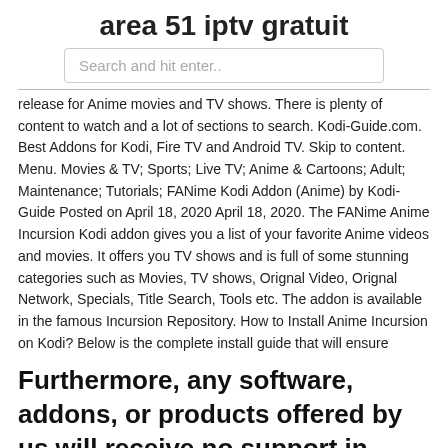area 51 iptv gratuit
Search and hit enter..
release for Anime movies and TV shows. There is plenty of content to watch and a lot of sections to search. Kodi-Guide.com. Best Addons for Kodi, Fire TV and Android TV. Skip to content. Menu. Movies & TV; Sports; Live TV; Anime & Cartoons; Adult; Maintenance; Tutorials; FANime Kodi Addon (Anime) by Kodi-Guide Posted on April 18, 2020 April 18, 2020. The FANime Anime Incursion Kodi addon gives you a list of your favorite Anime videos and movies. It offers you TV shows and is full of some stunning categories such as Movies, TV shows, Orignal Video, Orignal Network, Specials, Title Search, Tools etc. The addon is available in the famous Incursion Repository. How to Install Anime Incursion on Kodi? Below is the complete install guide that will ensure
Furthermore, any software, addons, or products offered by us will receive no support in official